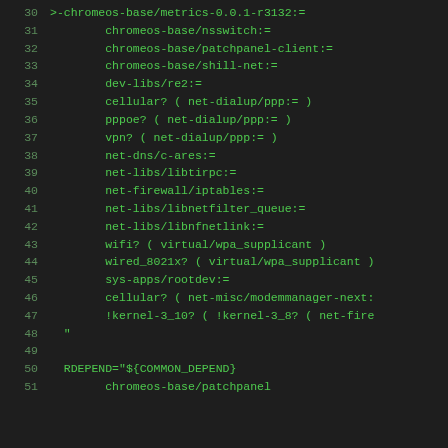Code listing lines 30-51: ebuild DEPEND/RDEPEND package list
30: >-chromeos-base/metrics-0.0.1-r3132:=
31: chromeos-base/nsswitch:=
32: chromeos-base/patchpanel-client:=
33: chromeos-base/shill-net:=
34: dev-libs/re2:=
35: cellular? ( net-dialup/ppp:= )
36: pppoe? ( net-dialup/ppp:= )
37: vpn? ( net-dialup/ppp:= )
38: net-dns/c-ares:=
39: net-libs/libtirpc:=
40: net-firewall/iptables:=
41: net-libs/libnetfilter_queue:=
42: net-libs/libnfnetlink:=
43: wifi? ( virtual/wpa_supplicant )
44: wired_8021x? ( virtual/wpa_supplicant )
45: sys-apps/rootdev:=
46: cellular? ( net-misc/modemmanager-next:=
47: !kernel-3_10? ( !kernel-3_8? ( net-fire
48: "
49: (empty line)
50: RDEPEND="${COMMON_DEPEND}
51: chromeos-base/patchpanel